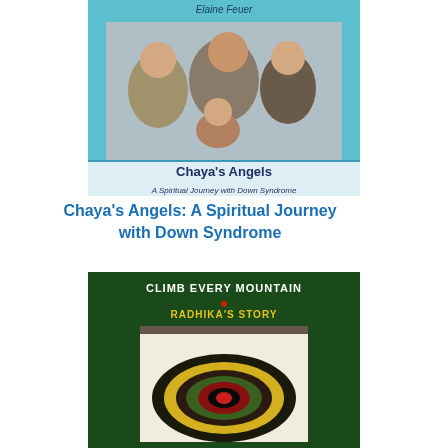[Figure (photo): Book cover of 'Chaya's Angels: A Spiritual Journey with Down Syndrome' by Elaine Feuer. Light blue cover with a photo of children and the book title and subtitle.]
Chaya's Angels: A Spiritual Journey with Down Syndrome
[Figure (photo): Book cover of 'Climb Every Mountain: Radhika's Story'. Dark green cover with a colorful abstract circular artwork and white and yellow title text.]